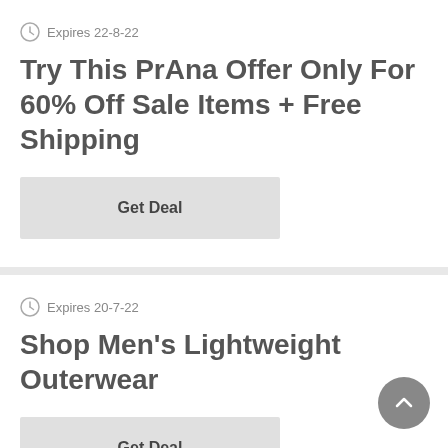Expires 22-8-22
Try This PrAna Offer Only For 60% Off Sale Items + Free Shipping
Get Deal
Expires 20-7-22
Shop Men's Lightweight Outerwear
Get Deal